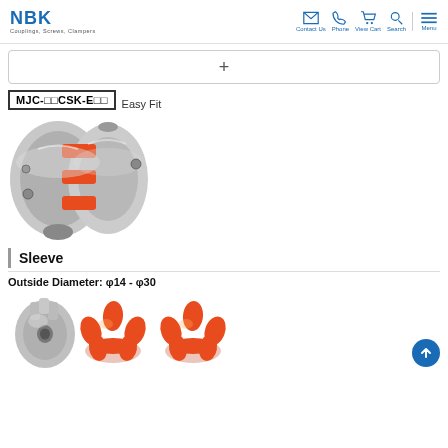NBK Couplings, Screws, Clampers — Contact Us | Phone | View Cart | Search | Menu
+
MJC-□□CSK-E□□  Easy Fit
[Figure (photo): Photo of an MJC series jaw coupling with silver aluminum hubs and a red spider/sleeve element in the center.]
Sleeve
Outside Diameter: φ14 - φ30
[Figure (photo): Photos of coupling sleeve components: one silver aluminum hub from top view, and two red spider/jaw elements.]